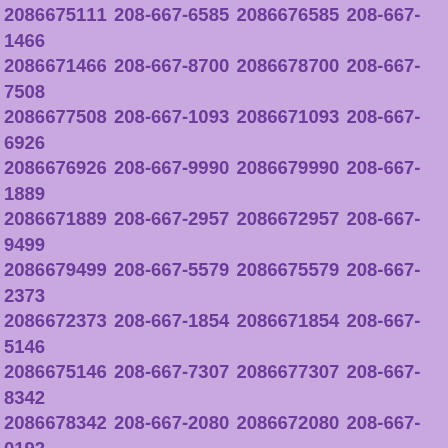2086675111 208-667-6585 2086676585 208-667-1466 2086671466 208-667-8700 2086678700 208-667-7508 2086677508 208-667-1093 2086671093 208-667-6926 2086676926 208-667-9990 2086679990 208-667-1889 2086671889 208-667-2957 2086672957 208-667-9499 2086679499 208-667-5579 2086675579 208-667-2373 2086672373 208-667-1854 2086671854 208-667-5146 2086675146 208-667-7307 2086677307 208-667-8342 2086678342 208-667-2080 2086672080 208-667-0192 2086670192 208-667-0518 2086670518 208-667-8100 2086678100 208-667-1456 2086671456 208-667-0880 2086670880 208-667-8934 2086678934 208-667-4436 2086674436 208-667-7870 2086677870 208-667-9476 2086679476 208-667-8832 2086678832 208-667-4310 2086674310 208-667-6300 2086676300 208-667-3803 2086673803 208-667-9638 2086679638 208-667-4478 2086674478 208-667-8339 2086678339 208-667-4931 2086674931 208-667-1008 2086671008 208-667-6799 2086676799 208-667-0942 2086670942 208-667-5183 2086675183 208-667-6522 2086676522 208-667-2386 2086672386 208-667-1689 2086671689 208-667-8639